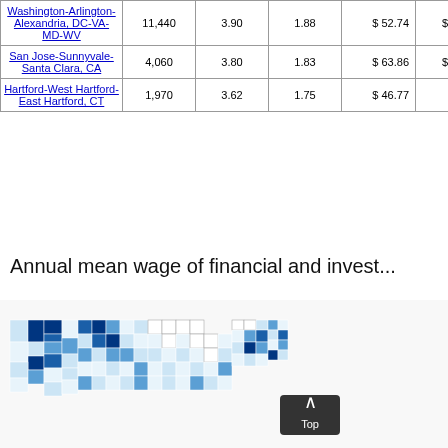| Area | Employment | Location Quotient | Percent of Area Employment | Hourly Mean Wage | Annual Mean Wage |
| --- | --- | --- | --- | --- | --- |
| Washington-Arlington-Alexandria, DC-VA-MD-WV | 11,440 | 3.90 | 1.88 | $ 52.74 | $ 109,700 |
| San Jose-Sunnyvale-Santa Clara, CA | 4,060 | 3.80 | 1.83 | $ 63.86 | $ 132,820 |
| Hartford-West Hartford-East Hartford, CT | 1,970 | 3.62 | 1.75 | $ 46.77 | $ 97,290 |
Annual mean wage of financial and invest...
[Figure (map): Choropleth map of the United States showing annual mean wage of financial and investment analysts by metropolitan area, shaded in varying intensities of blue.]